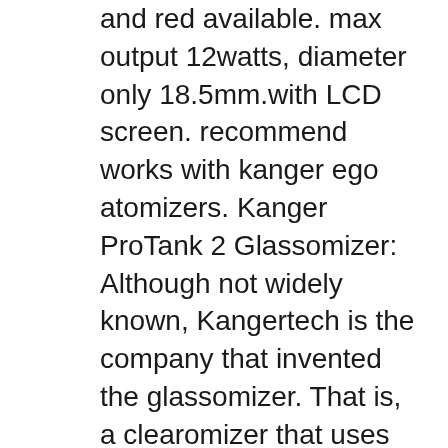and red available. max output 12watts, diameter only 18.5mm.with LCD screen. recommend works with kanger ego atomizers. Kanger ProTank 2 Glassomizer: Although not widely known, Kangertech is the company that invented the glassomizer. That is, a clearomizer that uses Pyrex or borosilicate glass rather than plastic for the e-liquid tank portion. This revolutionary device was debut to the world with the introduction of the original Kanger ProTank Glassomizer.

Vite ! DΓ©couvrez l'offre VΓ©ritable Kanger IPOW 2 1600mAh VW Variable Wattage Batterie Affichage LED / KangerTech EGO / Rayon 510 - Ajustable